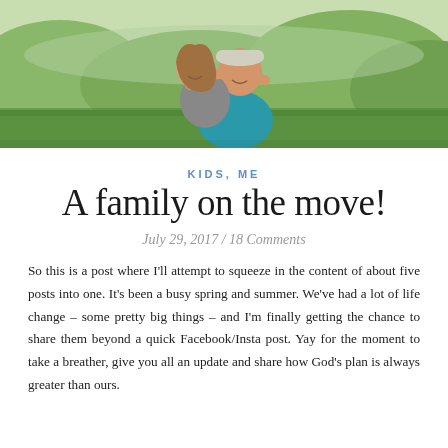[Figure (photo): A couple outdoors in a green field. A woman with long hair is hugging a man from behind, both smiling. The man is wearing a teal shirt and the woman has her arms around his neck. Green trees and foliage in the background.]
KIDS, ME
A family on the move!
July 29, 2017 / 18 Comments
So this is a post where I'll attempt to squeeze in the content of about five posts into one. It's been a busy spring and summer. We've had a lot of life change – some pretty big things – and I'm finally getting the chance to share them beyond a quick Facebook/Insta post. Yay for the moment to take a breather, give you all an update and share how God's plan is always greater than ours.